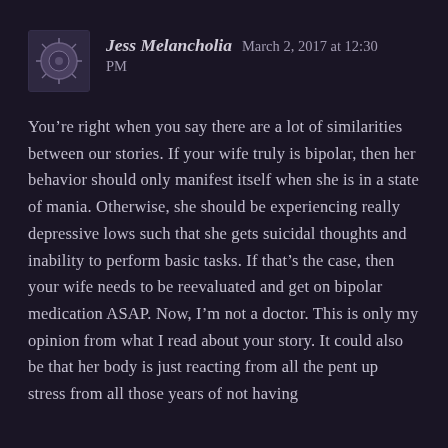Jess Melancholia   March 2, 2017 at 12:30 PM
You’re right when you say there are a lot of similarities between our stories. If your wife truly is bipolar, then her behavior should only manifest itself when she is in a state of mania. Otherwise, she should be experiencing really depressive lows such that she gets suicidal thoughts and inability to perform basic tasks. If that’s the case, then your wife needs to be reevaluated and get on bipolar medication ASAP. Now, I’m not a doctor. This is only my opinion from what I read about your story. It could also be that her body is just reacting from all the pent up stress from all those years of not having